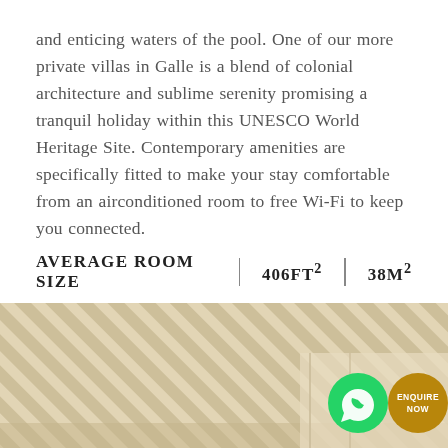and enticing waters of the pool. One of our more private villas in Galle is a blend of colonial architecture and sublime serenity promising a tranquil holiday within this UNESCO World Heritage Site. Contemporary amenities are specifically fitted to make your stay comfortable from an airconditioned room to free Wi-Fi to keep you connected.
AVERAGE ROOM SIZE | 406FT² | 38M²
[Figure (photo): Bottom section showing architectural interior detail — ceiling or wall with diagonal striped pattern in beige/tan tones, with a WhatsApp button (green circle with phone icon) and an Enquire Now button (golden/brown circle with text)]